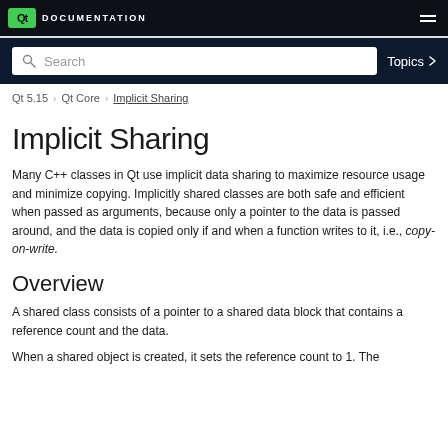Qt DOCUMENTATION
Search  Topics
Qt 5.15 > Qt Core > Implicit Sharing
Implicit Sharing
Many C++ classes in Qt use implicit data sharing to maximize resource usage and minimize copying. Implicitly shared classes are both safe and efficient when passed as arguments, because only a pointer to the data is passed around, and the data is copied only if and when a function writes to it, i.e., copy-on-write.
Overview
A shared class consists of a pointer to a shared data block that contains a reference count and the data.
When a shared object is created, it sets the reference count to 1. The